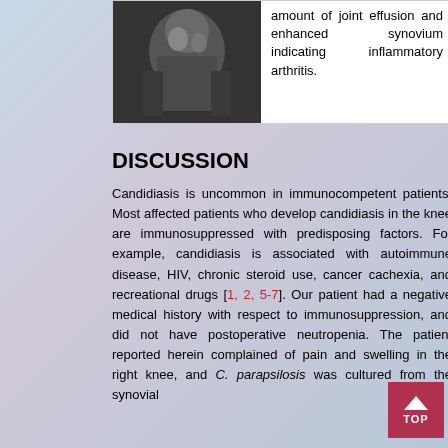[Figure (photo): A black and white photograph of a knee or joint, shown in the left cell of a two-column figure row. Right cell contains descriptive text about joint effusion and inflammatory arthritis.]
amount of joint effusion and enhanced synovium indicating inflammatory arthritis.
DISCUSSION
Candidiasis is uncommon in immunocompetent patients. Most affected patients who develop candidiasis in the knee are immunosuppressed with predisposing factors. For example, candidiasis is associated with autoimmune disease, HIV, chronic steroid use, cancer cachexia, and recreational drugs [1, 2, 5-7]. Our patient had a negative medical history with respect to immunosuppression, and did not have postoperative neutropenia. The patient reported herein complained of pain and swelling in the right knee, and C. parapsilosis was cultured from the synovial